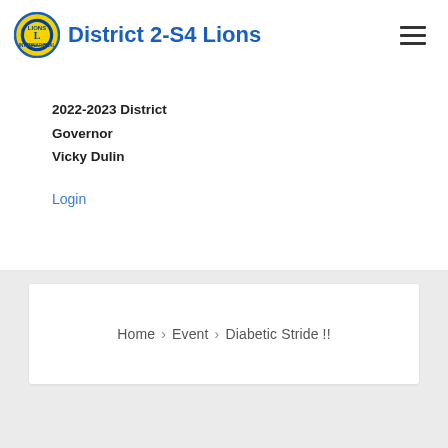District 2-S4 Lions
2022-2023 District Governor
Vicky Dulin
Login
Home › Event › Diabetic Stride !!